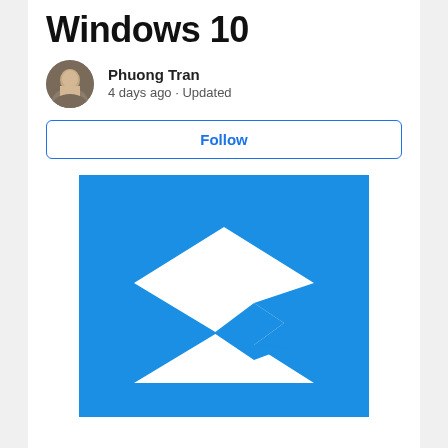Windows 10
Phuong Tran
4 days ago · Updated
Follow
[Figure (illustration): Windows 10 Mail app icon: white open envelope on a blue square background, with blue lightning bolt/arrow shape inside the envelope body]